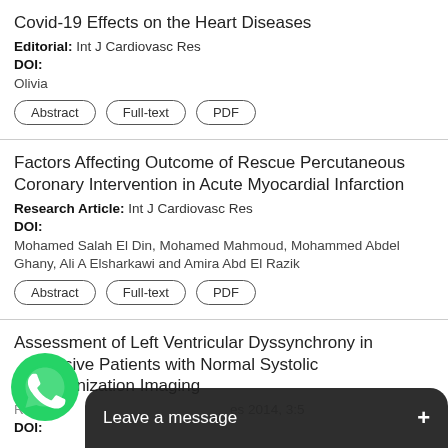Covid-19 Effects on the Heart Diseases
Editorial: Int J Cardiovasc Res
DOI:
Olivia
Abstract  Full-text  PDF
Factors Affecting Outcome of Rescue Percutaneous Coronary Intervention in Acute Myocardial Infarction
Research Article: Int J Cardiovasc Res
DOI:
Mohamed Salah El Din, Mohamed Mahmoud, Mohammed Abdel Ghany, Ali A Elsharkawi and Amira Abd El Razik
Abstract  Full-text  PDF
Assessment of Left Ventricular Dyssynchrony in rtensive Patients with Normal Systolic nization Imaging
Rese  es 2014, 3:5
DOI: